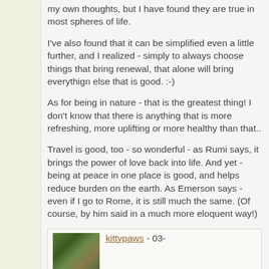my own thoughts, but I have found they are true in most spheres of life.
I've also found that it can be simplified even a little further, and I realized - simply to always choose things that bring renewal, that alone will bring everythign else that is good. :-)
As for being in nature - that is the greatest thing! I don't know that there is anything that is more refreshing, more uplifting or more healthy than that..
Travel is good, too - so wonderful - as Rumi says, it brings the power of love back into life. And yet - being at peace in one place is good, and helps reduce burden on the earth. As Emerson says - even if I go to Rome, it is still much the same. (Of course, by him said in a much more eloquent way!)
kittypaws - 03-